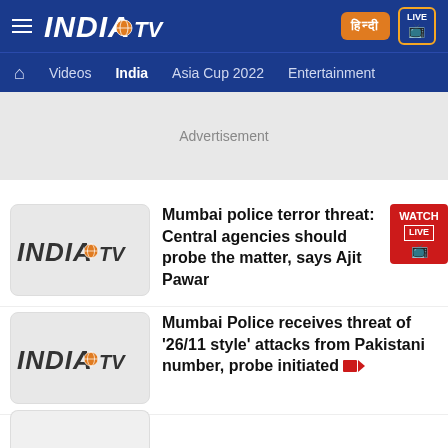INDIA TV — Navigation header with Videos, India, Asia Cup 2022, Entertainment
Advertisement
Mumbai police terror threat: Central agencies should probe the matter, says Ajit Pawar
Mumbai Police receives threat of '26/11 style' attacks from Pakistani number, probe initiated